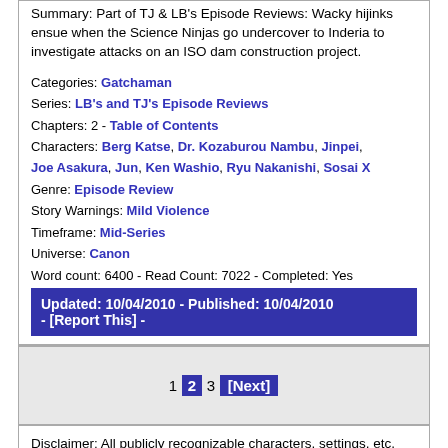Summary: Part of TJ & LB's Episode Reviews: Wacky hijinks ensue when the Science Ninjas go undercover to Inderia to investigate attacks on an ISO dam construction project.
Categories: Gatchaman
Series: LB's and TJ's Episode Reviews
Chapters: 2 - Table of Contents
Characters: Berg Katse, Dr. Kozaburou Nambu, Jinpei, Joe Asakura, Jun, Ken Washio, Ryu Nakanishi, Sosai X
Genre: Episode Review
Story Warnings: Mild Violence
Timeframe: Mid-Series
Universe: Canon
Word count: 6400 - Read Count: 7022 - Completed: Yes
Updated: 10/04/2010 - Published: 10/04/2010 - [Report This] -
1 2 3 [Next]
Disclaimer: All publicly recognizable characters, settings, etc. are the property of their respective owners, including but not limited to Sandy Frank Film Syndication Inc., Saban Entertainment, Hearst Entertainment, Turner Program Services, Columbia TriStar Television, Home Box Office, Inc. and Tatsunoko Production Co., Ltd.